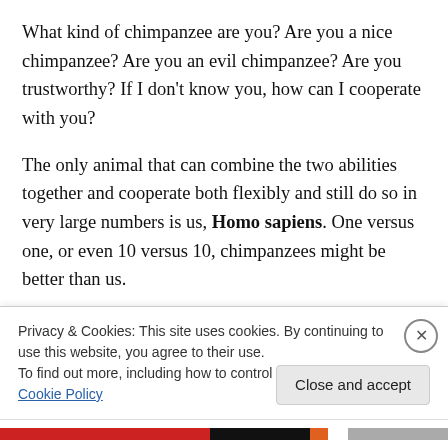What kind of chimpanzee are you? Are you a nice chimpanzee? Are you an evil chimpanzee? Are you trustworthy? If I don’t know you, how can I cooperate with you?
The only animal that can combine the two abilities together and cooperate both flexibly and still do so in very large numbers is us, Homo sapiens. One versus one, or even 10 versus 10, chimpanzees might be better than us.
But, if you pit 1,000 humans against 1,000 chimpanzees,
Privacy & Cookies: This site uses cookies. By continuing to use this website, you agree to their use.
To find out more, including how to control cookies, see here: Cookie Policy